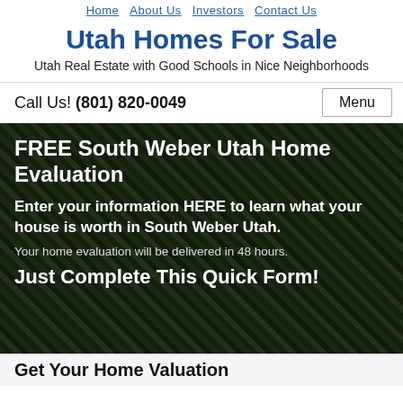Home · About Us · Investors · Contact Us
Utah Homes For Sale
Utah Real Estate with Good Schools in Nice Neighborhoods
Call Us! (801) 820-0049   Menu
FREE South Weber Utah Home Evaluation
Enter your information HERE to learn what your house is worth in South Weber Utah.
Your home evaluation will be delivered in 48 hours.
Just Complete This Quick Form!
Get Your Home Valuation